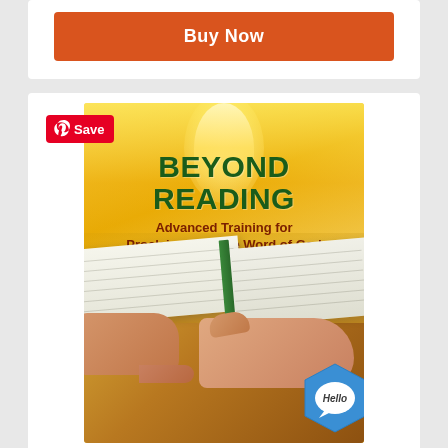[Figure (other): Orange 'Buy Now' button at top of page]
[Figure (illustration): Book cover for 'Beyond Reading: Advanced Training for Proclaimers of the Word of God' by Douglas Leal, with golden/yellow background, green title text, a microphone, open book on a wooden lectern, and hands resting on the book. A Pinterest Save button overlays the top-left corner. A blue hexagonal Hello chat badge appears bottom-right.]